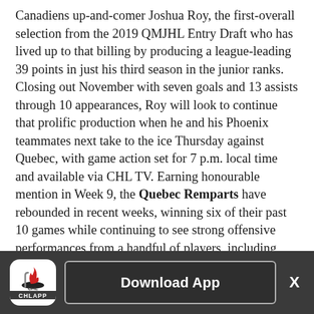Canadiens up-and-comer Joshua Roy, the first-overall selection from the 2019 QMJHL Entry Draft who has lived up to that billing by producing a league-leading 39 points in just his third season in the junior ranks. Closing out November with seven goals and 13 assists through 10 appearances, Roy will look to continue that prolific production when he and his Phoenix teammates next take to the ice Thursday against Quebec, with game action set for 7 p.m. local time and available via CHL TV. Earning honourable mention in Week 9, the Quebec Remparts have rebounded in recent weeks, winning six of their past 10 games while continuing to see strong offensive performances from a handful of players, including Theo Rochette, Zachary Bolduc (St. Louis Blues), James Malatesta (Columbus Blue Jackets), and expected
[Figure (logo): CHL App logo — stylized CHL letters with flame/hockey motif on white rounded square background, with CHLAPP label below]
Download App
X